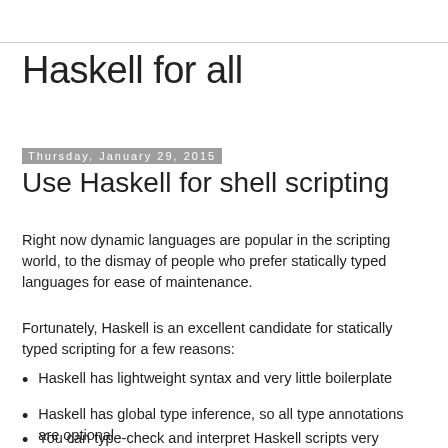Haskell for all
Thursday, January 29, 2015
Use Haskell for shell scripting
Right now dynamic languages are popular in the scripting world, to the dismay of people who prefer statically typed languages for ease of maintenance.
Fortunately, Haskell is an excellent candidate for statically typed scripting for a few reasons:
Haskell has lightweight syntax and very little boilerplate
Haskell has global type inference, so all type annotations are optional
You can type-check and interpret Haskell scripts very rapidly